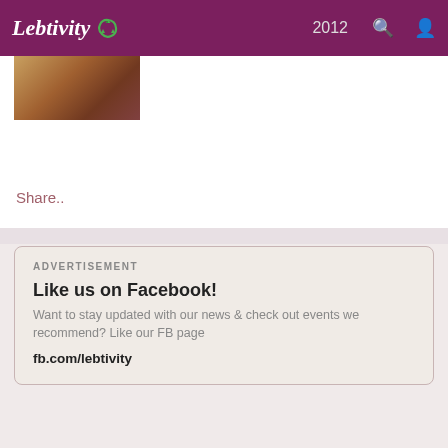Lebtivity 2012
[Figure (screenshot): Partial image visible at top of first card]
Share..
ADVERTISEMENT
Like us on Facebook!
Want to stay updated with our news & check out events we recommend? Like our FB page
fb.com/lebtivity
STAY UP-TO-DATE! Join our newsletter
ONLINE EVENTS
SEAT DOWN  Chair Exhibition
08:00 am-09:00pm
GInette, Gouraud Street Gemmayzeh , Achrafieh, Lebanon
Share..